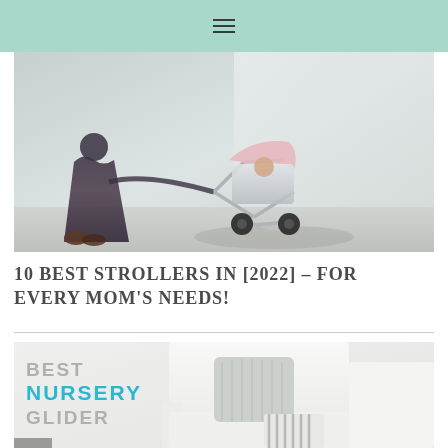[Figure (photo): A woman in a dark floral dress pushing a pink and white stroller with a child seated in it, outdoors against a white wall in bright sunlight.]
10 BEST STROLLERS IN [2022] – FOR EVERY MOM'S NEEDS!
[Figure (photo): A white nursery glider chair with a knit pillow and striped fabric item resting on it, with text overlay reading BEST NURSERY GLIDER where NURSERY is in teal/cyan color and BEST and GLIDER are in gray.]